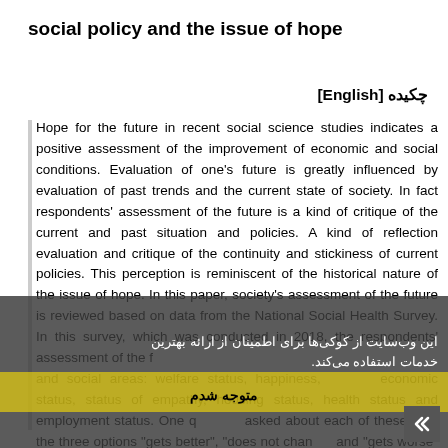social policy and the issue of hope
چکیده [English]
Hope for the future in recent social science studies indicates a positive assessment of the improvement of economic and social conditions. Evaluation of one's future is greatly influenced by evaluation of past trends and the current state of society. In fact respondents' assessment of the future is a kind of critique of the current and past situation and policies. A kind of reflection evaluation and critique of the continuity and stickiness of current policies. This perception is reminiscent of the historical nature of the issue of hope. In this paper, society's assessment of the future is reviewed based on data from the National Social Health Survey. In this survey, which was conducted in 2018, the respondents' assessment of the future was evaluated in eight social and social areas: welfare status, happiness, values, economic status, status of empathy, housing status, health status and employment status. One question was asked about each of these, and the three options "gets better", "does not change" and "gets worse" are presented to the respondents. Putting data of this survey with the two surveys of Iranians values and...